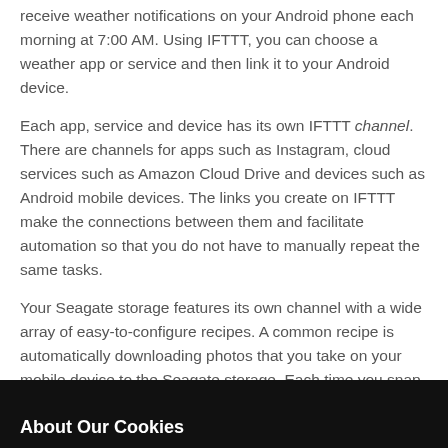receive weather notifications on your Android phone each morning at 7:00 AM. Using IFTTT, you can choose a weather app or service and then link it to your Android device.
Each app, service and device has its own IFTTT channel. There are channels for apps such as Instagram, cloud services such as Amazon Cloud Drive and devices such as Android mobile devices. The links you create on IFTTT make the connections between them and facilitate automation so that you do not have to manually repeat the same tasks.
Your Seagate storage features its own channel with a wide array of easy-to-configure recipes. A common recipe is automatically downloading photos that you take on your mobile device to the Seagate storage. Each time you snap a photo, you are guaranteed that it is backed up and available for viewing on your Seagate storage. There is no need to perform the task manually since the recipe has been enabled on the Seagate storage IFTTT channel.
About Our Cookies